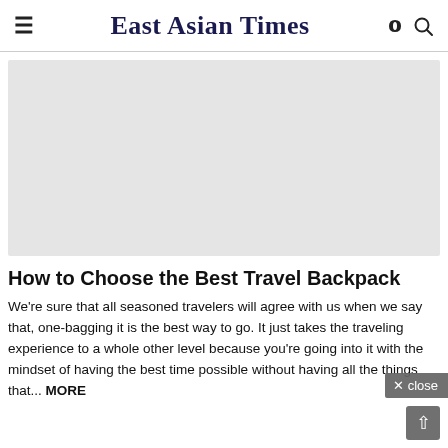≡  East Asian Times
[Figure (photo): Large light gray placeholder image area, hero image for the article about travel backpacks]
How to Choose the Best Travel Backpack
We're sure that all seasoned travelers will agree with us when we say that, one-bagging it is the best way to go. It just takes the traveling experience to a whole other level because you're going into it with the mindset of having the best time possible without having all the things that... [MORE]